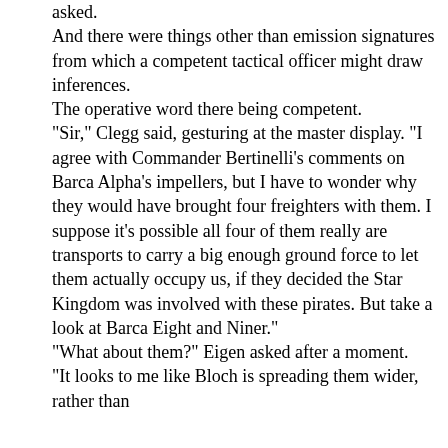asked. And there were things other than emission signatures from which a competent tactical officer might draw inferences. The operative word there being competent. "Sir," Clegg said, gesturing at the master display. "I agree with Commander Bertinelli's comments on Barca Alpha's impellers, but I have to wonder why they would have brought four freighters with them. I suppose it's possible all four of them really are transports to carry a big enough ground force to let them actually occupy us, if they decided the Star Kingdom was involved with these pirates. But take a look at Barca Eight and Niner." "What about them?" Eigen asked after a moment. "It looks to me like Bloch is spreading them wider, rather than